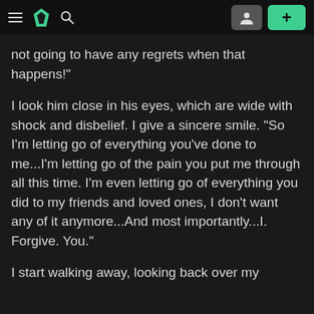DeviantArt navigation bar with menu, logo, search, profile, and add buttons
not going to have any regrets when that happens!"
I look him close in his eyes, which are wide with shock and disbelief. I give a sincere smile. "So I'm letting go of everything you've done to me...I'm letting go of the pain you put me through all this time. I'm even letting go of everything you did to my friends and loved ones, I don't want any of it anymore...And most importantly...I. Forgive. You."
I start walking away, looking back over my